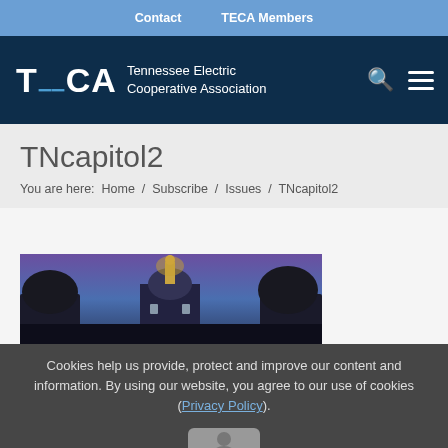Contact   TECA Members
[Figure (logo): TECA - Tennessee Electric Cooperative Association logo with search and menu icons on dark navy background]
TNcapitol2
You are here:  Home  /  Subscribe  /  Issues  /  TNcapitol2
[Figure (photo): Tennessee State Capitol building at dusk/night with illuminated dome and trees silhouetted against purple sky]
Cookies help us provide, protect and improve our content and information. By using our website, you agree to our use of cookies (Privacy Policy).